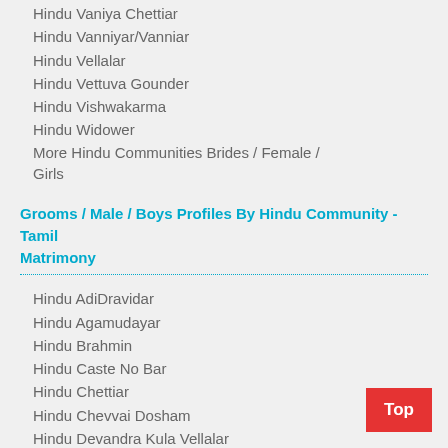Hindu Vaniya Chettiar
Hindu Vanniyar/Vanniar
Hindu Vellalar
Hindu Vettuva Gounder
Hindu Vishwakarma
Hindu Widower
More Hindu Communities Brides / Female / Girls
Grooms / Male / Boys Profiles By Hindu Community - Tamil Matrimony
Hindu AdiDravidar
Hindu Agamudayar
Hindu Brahmin
Hindu Caste No Bar
Hindu Chettiar
Hindu Chevvai Dosham
Hindu Devandra Kula Vellalar
Hindu Divorcee
Hindu Gounder
Hindu Mudaliar